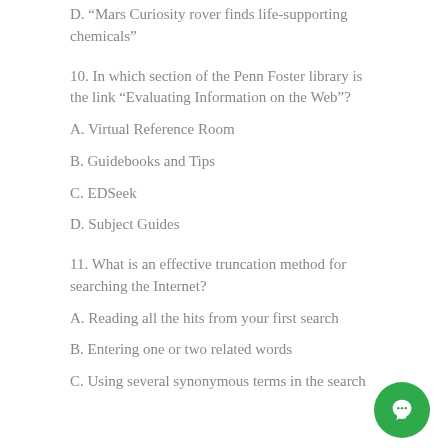D. "Mars Curiosity rover finds life-supporting chemicals"
10. In which section of the Penn Foster library is the link “Evaluating Information on the Web”?
A. Virtual Reference Room
B. Guidebooks and Tips
C. EDSeek
D. Subject Guides
11. What is an effective truncation method for searching the Internet?
A. Reading all the hits from your first search
B. Entering one or two related words
C. Using several synonymous terms in the search